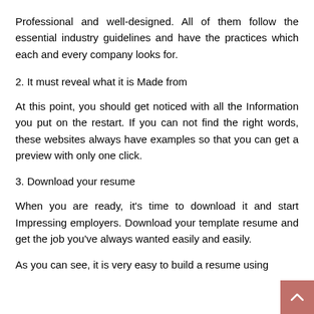Professional and well-designed. All of them follow the essential industry guidelines and have the practices which each and every company looks for.
2. It must reveal what it is Made from
At this point, you should get noticed with all the Information you put on the restart. If you can not find the right words, these websites always have examples so that you can get a preview with only one click.
3. Download your resume
When you are ready, it's time to download it and start Impressing employers. Download your template resume and get the job you've always wanted easily and easily.
As you can see, it is very easy to build a resume using